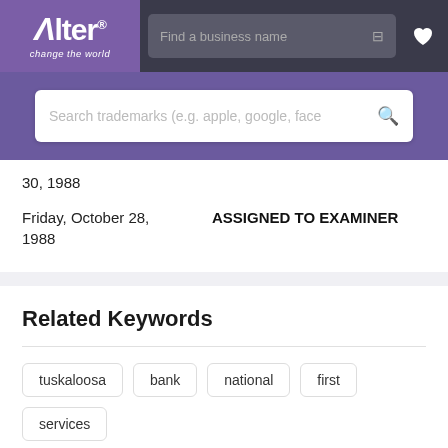[Figure (logo): Alter logo with tagline 'change the world' on purple background]
Find a business name
30, 1988
Friday, October 28, 1988    ASSIGNED TO EXAMINER
Related Keywords
tuskaloosa
bank
national
first
services
banking